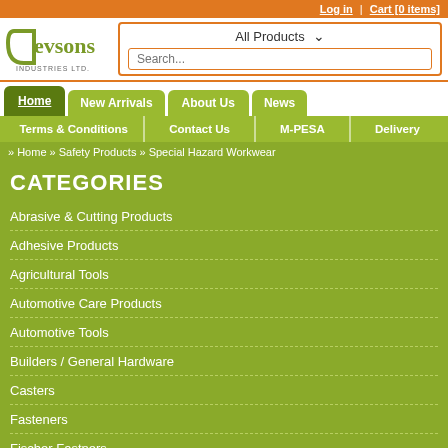Log in | Cart [0 items]
[Figure (logo): Devsons Industries Ltd logo - olive/green stylized text]
All Products (dropdown) Search...
Home | New Arrivals | About Us | News | Terms & Conditions | Contact Us | M-PESA | Delivery
» Home » Safety Products » Special Hazard Workwear
CATEGORIES
Abrasive & Cutting Products
Adhesive Products
Agricultural Tools
Automotive Care Products
Automotive Tools
Builders / General Hardware
Casters
Fasteners
Fischer Fastners